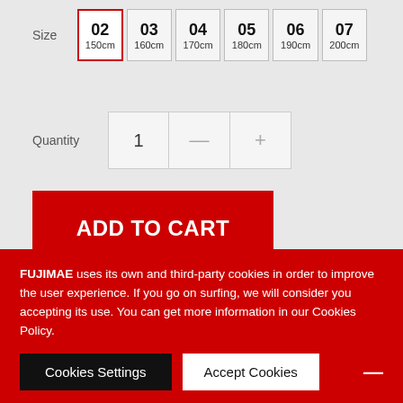Size: 02 150cm (selected), 03 160cm, 04 170cm, 05 180cm, 06 190cm, 07 200cm
Quantity: 1
ADD TO CART
Add to wishlist
[Figure (other): Social share buttons: Twitter (blue), Facebook (dark blue), Pinterest (red)]
FUJIMAE uses its own and third-party cookies in order to improve the user experience. If you go on surfing, we will consider you accepting its use. You can get more information in our Cookies Policy.
Cookies Settings  Accept Cookies